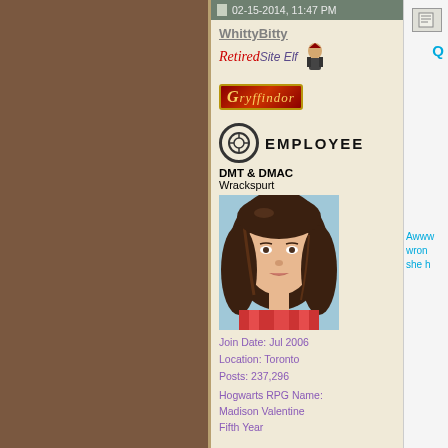02-15-2014, 11:47 PM
WhittyBitty
Retired Site Elf
[Figure (illustration): Gryffindor badge - red badge with gold border and italic text]
[Figure (logo): Employee badge with circular logo and EMPLOYEE text]
DMT & DMAC
Wrackspurt
[Figure (photo): Avatar photo of a young woman with brown hair]
Join Date: Jul 2006
Location: Toronto
Posts: 237,296
Hogwarts RPG Name:
Madison Valentine
Fifth Year
Ministry RPG Name:
Gabriella Burton
Transportation